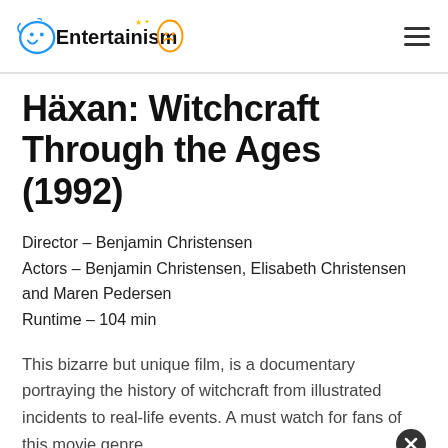Entertainism
Häxan: Witchcraft Through the Ages (1992)
Director – Benjamin Christensen
Actors – Benjamin Christensen, Elisabeth Christensen and Maren Pedersen
Runtime – 104 min
This bizarre but unique film, is a documentary portraying the history of witchcraft from illustrated incidents to real-life events. A must watch for fans of this movie genre.
[Figure (other): Advertisement banner for BitLife game: 'WHEN REAL LIFE IS QUARANTINED → BitLife' with rainbow design and emoji characters]